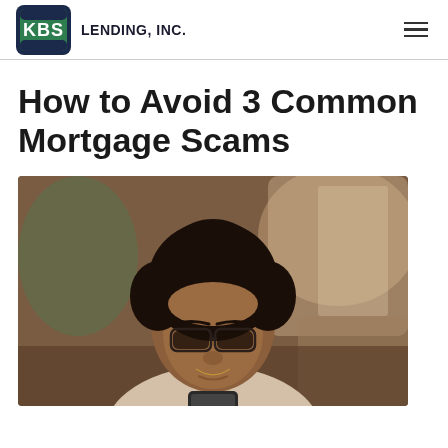KBS LENDING, INC.
How to Avoid 3 Common Mortgage Scams
[Figure (photo): A young Black woman with curly hair wearing glasses, looking down at a smartphone with a concerned or worried expression, sitting at a table in a blurred indoor background.]